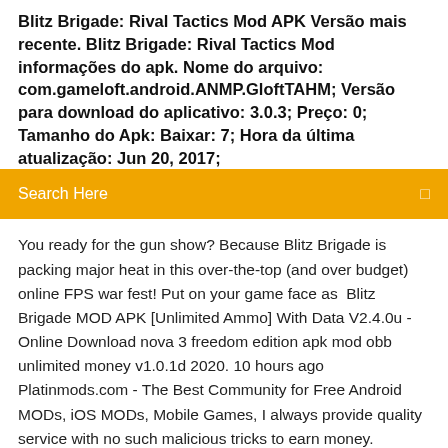Blitz Brigade: Rival Tactics Mod APK Versão mais recente. Blitz Brigade: Rival Tactics Mod informações do apk. Nome do arquivo: com.gameloft.android.ANMP.GloftTAHM; Versão para download do aplicativo: 3.0.3; Preço: 0; Tamanho do Apk: Baixar: 7; Hora da última atualização: Jun 20, 2017;
Search Here
You ready for the gun show? Because Blitz Brigade is packing major heat in this over-the-top (and over budget) online FPS war fest! Put on your game face as  Blitz Brigade MOD APK [Unlimited Ammo] With Data V2.4.0u - Online Download nova 3 freedom edition apk mod obb unlimited money v1.0.1d 2020. 10 hours ago Platinmods.com - The Best Community for Free Android MODs, iOS MODs, Mobile Games, I always provide quality service with no such malicious tricks to earn money. 1.7.1.995 MOD APK | Unlimited Coins | Unlimited Gems | No ADS